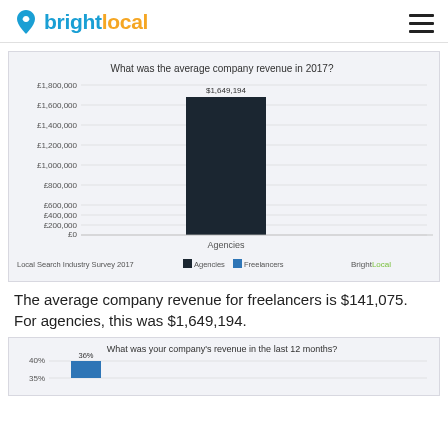BrightLocal
[Figure (bar-chart): What was the average company revenue in 2017?]
The average company revenue for freelancers is $141,075. For agencies, this was $1,649,194.
[Figure (bar-chart): What was your company's revenue in the last 12 months?]